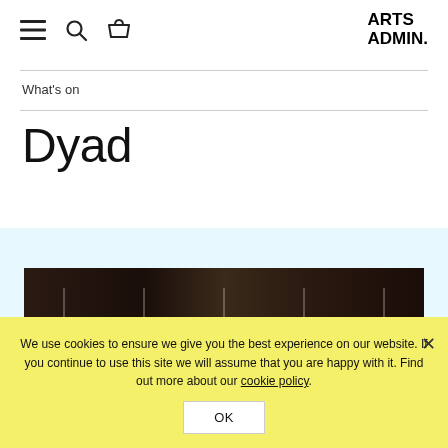Arts Admin. [navigation icons: menu, search, basket]
What's on
Dyad
[Figure (photo): Dark performance or rehearsal scene, two figures dimly visible against a very dark background with vertical bar-like structures]
We use cookies to ensure we give you the best experience on our website. If you continue to use this site we will assume that you are happy with it. Find out more about our cookie policy.
OK